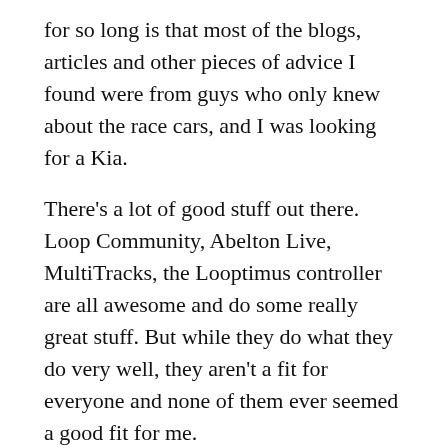for so long is that most of the blogs, articles and other pieces of advice I found were from guys who only knew about the race cars, and I was looking for a Kia.
There's a lot of good stuff out there. Loop Community, Abelton Live, MultiTracks, the Looptimus controller are all awesome and do some really great stuff. But while they do what they do very well, they aren't a fit for everyone and none of them ever seemed a good fit for me.
HOW A YOUTH PASTOR'S CONFERENCE BROUGHT ME TO PADS
Then last January, my wife and I attended the Calvary Chapel North Atlanta Conference, and I...